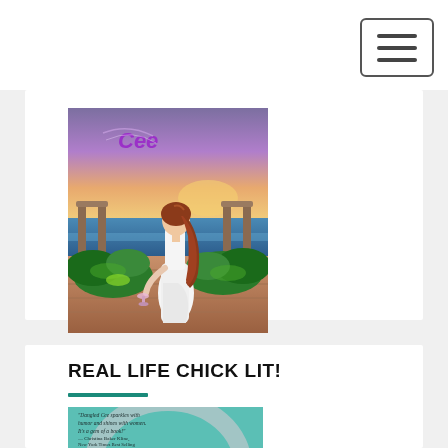[Figure (illustration): Book cover illustration showing a woman in a white dress with long red hair, standing on a wooden deck with tropical plants, ocean sunset background, with text 'Cee' visible at top]
REAL LIFE CHICK LIT!
[Figure (illustration): Partial view of a teal/mint book cover with a quote reading: 'Dangled Cee sparkles with humor and shines with women. It's a gem of a book!' — Christina Baker Kline, New York Times Best Selling Author of Orphan Train]